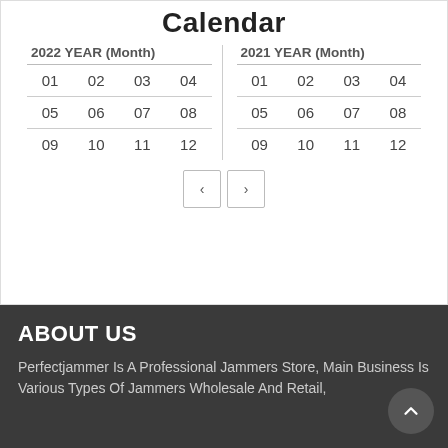Calendar
| 01 | 02 | 03 | 04 |
| --- | --- | --- | --- |
| 05 | 06 | 07 | 08 |
| 09 | 10 | 11 | 12 |
| 01 | 02 | 03 | 04 |
| --- | --- | --- | --- |
| 05 | 06 | 07 | 08 |
| 09 | 10 | 11 | 12 |
ABOUT US
Perfectjammer Is A Professional Jammers Store, Main Business Is Various Types Of Jammers Wholesale And Retail,